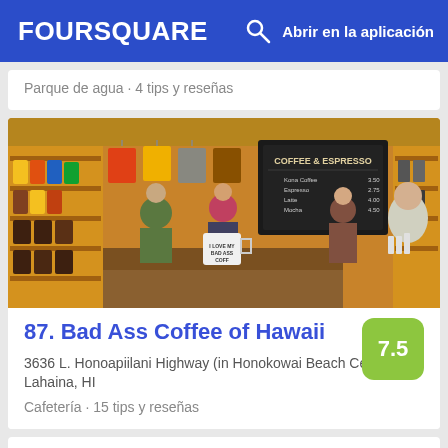FOURSQUARE  Abrir en la aplicación
Parque de agua · 4 tips y reseñas
[Figure (photo): Interior of Bad Ass Coffee of Hawaii shop showing shelves with coffee products, t-shirts hanging on wall, a chalkboard menu, and customers at the counter]
87. Bad Ass Coffee of Hawaii
3636 L. Honoapiilani Highway (in Honokowai Beach Center), Lahaina, HI
Cafetería · 15 tips y reseñas